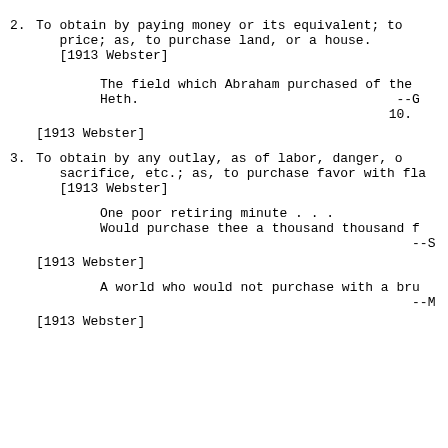2. To obtain by paying money or its equivalent; to buy at a price; as, to purchase land, or a house.
[1913 Webster]
The field which Abraham purchased of the Heth. --G. 10.
[1913 Webster]
3. To obtain by any outlay, as of labor, danger, o sacrifice, etc.; as, to purchase favor with fla [1913 Webster]
One poor retiring minute . . .
Would purchase thee a thousand thousand f --S
[1913 Webster]
A world who would not purchase with a bru --M
[1913 Webster]